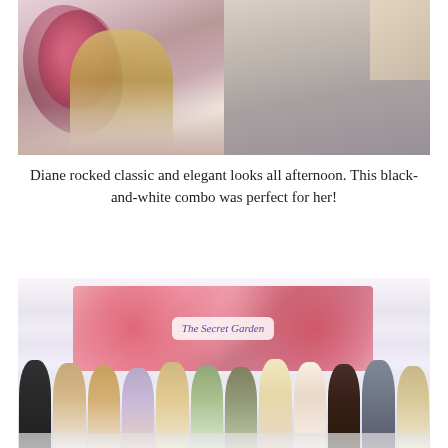[Figure (photo): Two-panel collage of photos from a fashion event. Left panel shows a model in black-and-white outfit in front of a floral backdrop; center shows a curly blonde-haired person from behind; right panel shows audience members seated.]
Diane rocked classic and elegant looks all afternoon. This black-and-white combo was perfect for her!
[Figure (photo): Group photo of approximately 12 people standing in front of a 'The Secret Garden' floral banner with white curtain backdrop. Mixed group of men and women in various outfits, some holding bags and accessories.]